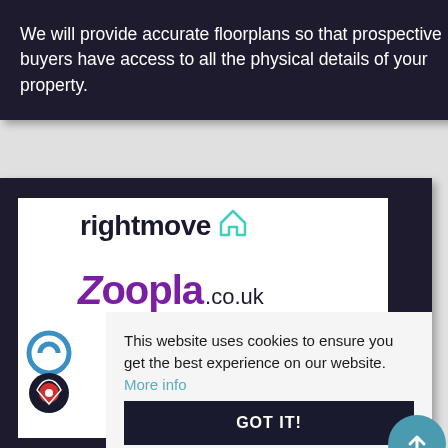We will provide accurate floorplans so that prospective buyers have access to all the physical details of your property.
[Figure (logo): Rightmove logo with house icon, Zoopla.co.uk logo, partial Gumtree and OnTheMarket logos visible in dark background card]
This website uses cookies to ensure you get the best experience on our website. More info
GOT IT!
INTERNET MARKETING